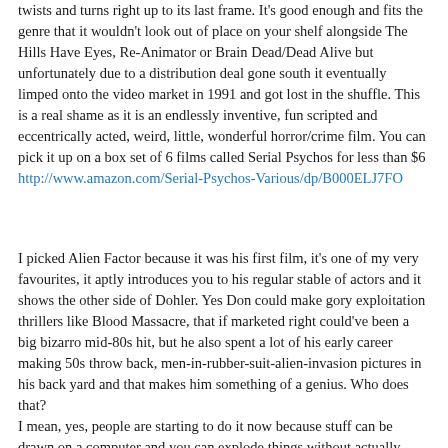twists and turns right up to its last frame. It's good enough and fits the genre that it wouldn't look out of place on your shelf alongside The Hills Have Eyes, Re-Animator or Brain Dead/Dead Alive but unfortunately due to a distribution deal gone south it eventually limped onto the video market in 1991 and got lost in the shuffle. This is a real shame as it is an endlessly inventive, fun scripted and eccentrically acted, weird, little, wonderful horror/crime film. You can pick it up on a box set of 6 films called Serial Psychos for less than $6 http://www.amazon.com/Serial-Psychos-Various/dp/B000ELJ7FO
I picked Alien Factor because it was his first film, it's one of my very favourites, it aptly introduces you to his regular stable of actors and it shows the other side of Dohler. Yes Don could make gory exploitation thrillers like Blood Massacre, that if marketed right could've been a big bizarro mid-80s hit, but he also spent a lot of his early career making 50s throw back, men-in-rubber-suit-alien-invasion pictures in his back yard and that makes him something of a genius. Who does that? I mean, yes, people are starting to do it now because stuff can be drawn on a computer and you can explode things without actually exploding things but who does that in the late 1970s in Baltimore